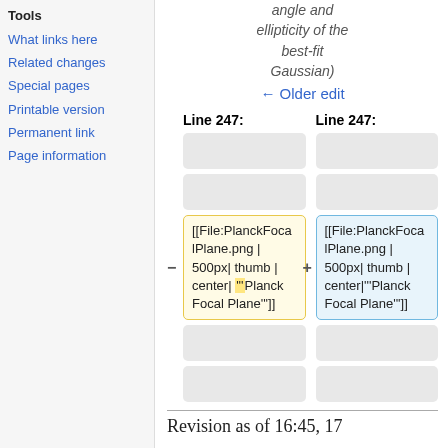Tools
What links here
Related changes
Special pages
Printable version
Permanent link
Page information
angle and ellipticity of the best-fit Gaussian)
← Older edit
| Line 247: | Line 247: |
| --- | --- |
| (empty) | (empty) |
| (empty) | (empty) |
| [[File:PlanckFocalPlane.png | 500px| thumb | center| '''Planck Focal Plane''']] | [[File:PlanckFocalPlane.png | 500px| thumb | center|'''Planck Focal Plane''']] |
| (empty) | (empty) |
| (empty) | (empty) |
Revision as of 16:45, 17